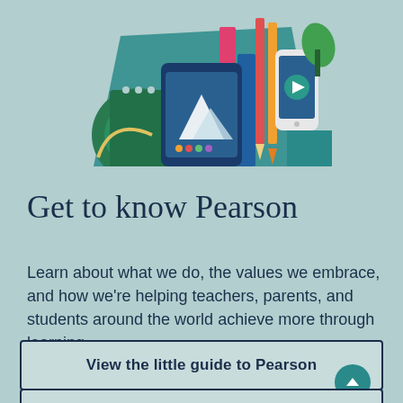[Figure (illustration): Colorful illustration of educational items including notebooks, textbooks, pencils, a tablet with mountain scene, and a smartphone, arranged as a group against a light teal background.]
Get to know Pearson
Learn about what we do, the values we embrace, and how we’re helping teachers, parents, and students around the world achieve more through learning.
View the little guide to Pearson
Explore careers at Pearson